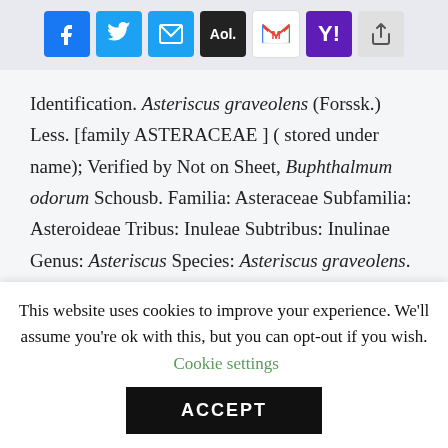[Figure (other): Social sharing icons: Facebook, Twitter, Email, AOL, Gmail, Yahoo, Share]
Identification. Asteriscus graveolens (Forssk.) Less. [family ASTERACEAE ] ( stored under name); Verified by Not on Sheet, Buphthalmum odorum Schousb. Familia: Asteraceae Subfamilia: Asteroideae Tribus: Inuleae Subtribus: Inulinae Genus: Asteriscus Species: Asteriscus graveolens.
This website uses cookies to improve your experience. We'll assume you're ok with this, but you can opt-out if you wish. Cookie settings
ACCEPT